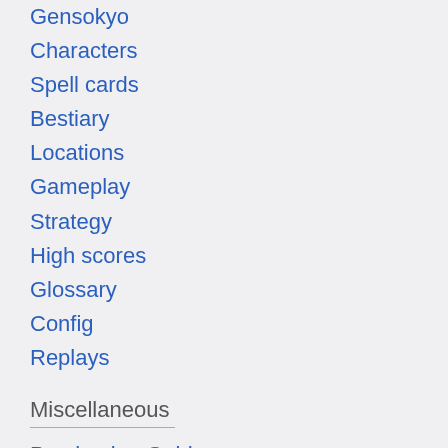Gensokyo
Characters
Spell cards
Bestiary
Locations
Gameplay
Strategy
High scores
Glossary
Config
Replays
Miscellaneous
Purchasing Guide
English patches
Running in Linux and Mac OS X